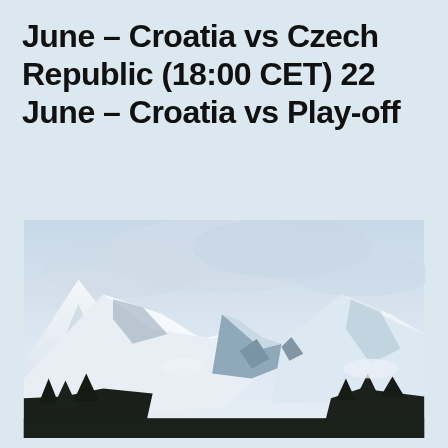June – Croatia vs Czech Republic (18:00 CET) 22 June – Croatia vs Play-off
[Figure (photo): Snow-capped mountain range with dark forested slopes in the foreground and a cloudy sky above.]